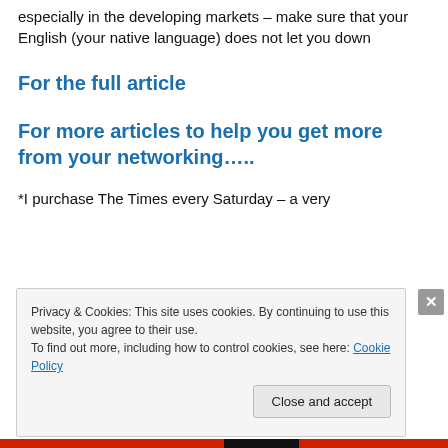especially in the developing markets – make sure that your English (your native language)  does not let you down
For the full article
For more articles to help you get more from your networking…..
*I purchase The Times every Saturday – a very
Privacy & Cookies: This site uses cookies. By continuing to use this website, you agree to their use.
To find out more, including how to control cookies, see here: Cookie Policy
Close and accept